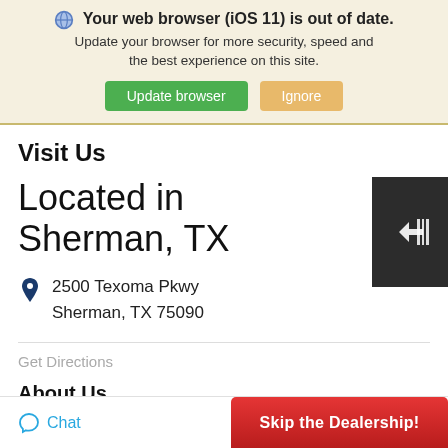🌐 Your web browser (iOS 11) is out of date. Update your browser for more security, speed and the best experience on this site. Update browser  Ignore
Visit Us
Located in Sherman, TX
[Figure (other): Dark panel with a barcode/scan icon]
2500 Texoma Pkwy
Sherman, TX 75090
Get Directions
About Us
Chat
Skip the Dealership!